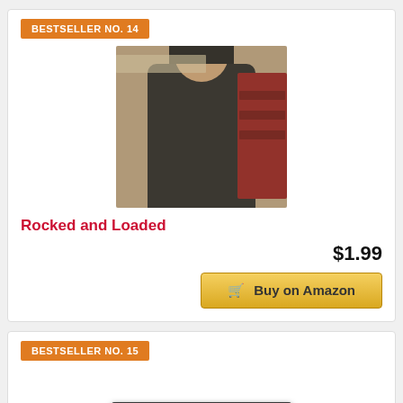BESTSELLER NO. 14
[Figure (photo): Photo of a man wearing a black sleeveless shirt and black cap with a cross, standing in front of shelves in a garage/workshop setting.]
Rocked and Loaded
$1.99
Buy on Amazon
BESTSELLER NO. 15
[Figure (photo): Photo of a slim black DVD/Blu-ray player device.]